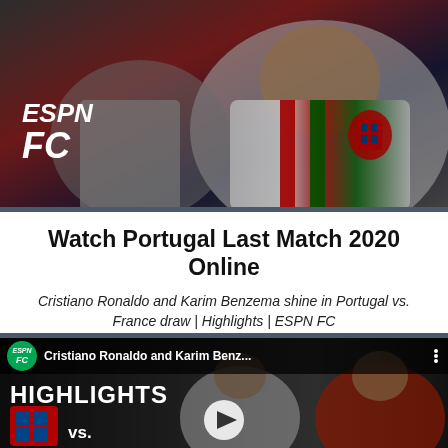[Figure (screenshot): ESPN FC branded image showing a soccer player wearing Portugal national team kit (white jersey with red and green stripes), with ESPN FC logo in white text visible on the left side. Dark background with player close-up.]
Watch Portugal Last Match 2020 Online
Cristiano Ronaldo and Karim Benzema shine in Portugal vs. France draw | Highlights | ESPN FC
[Figure (screenshot): YouTube video thumbnail showing ESPN FC channel logo (green circle with ESPN FC text), video title 'Cristiano Ronaldo and Karim Benz...' with three-dot menu. Video thumbnail shows HIGHLIGHTS text, Portugal vs France emblems with 'vs.' text, and two players in red and white jerseys with a play button overlay in the center.]